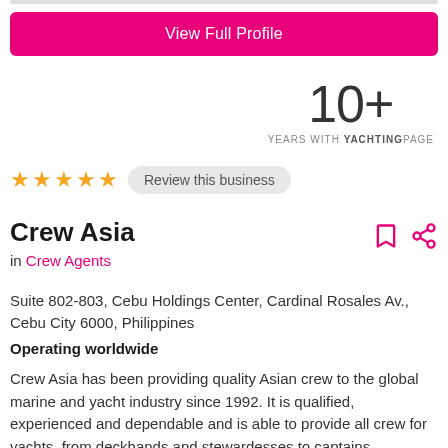[Figure (other): Pink 'View Full Profile' button]
10+
YEARS WITH YACHTINGPAGE
[Figure (other): Five gold stars rating and 'Review this business' button]
Crew Asia
in Crew Agents
Suite 802-803, Cebu Holdings Center, Cardinal Rosales Av., Cebu City 6000, Philippines
Operating worldwide
Crew Asia has been providing quality Asian crew to the global marine and yacht industry since 1992. It is qualified, experienced and dependable and is able to provide all crew for yachts, from deckhands and stewardesses to captains.